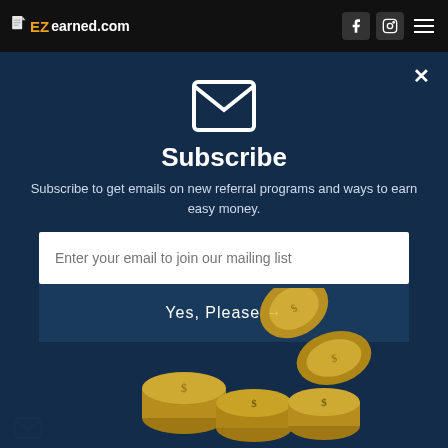EZearned.com
[Figure (screenshot): Modal popup with envelope icon, subscribe form, email input field, and submit button on dark blue background with gold coins illustration]
Subscribe
Subscribe to get emails on new referral programs and ways to earn easy money.
Enter your email to join our mailing list
Yes, Please →